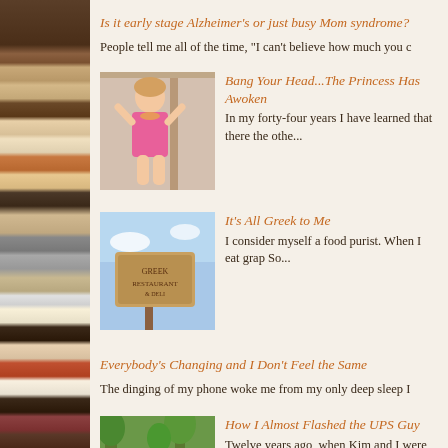[Figure (photo): Left sidebar showing a bookshelf with colorful book spines]
Is it early stage Alzheimer’s or just busy Mom syndrome?
People tell me all of the time, “I can’t believe how much you c
[Figure (photo): Young girl in pink dress leaning against a wall]
Bang Your Head...The Princess Has Awoken
In my forty-four years I have learned that there the othe...
[Figure (photo): Restaurant or business sign against blue sky]
It’s All Greek to Me
I consider myself a food purist. When I eat grap So...
Everybody's Changing and I Don't Feel the Same
The dinging of my phone woke me from my only deep sleep I
[Figure (photo): Outdoor patio furniture with trees in background]
How I Almost Flashed the UPS Guy
Twelve years ago, when Kim and I were still in then...